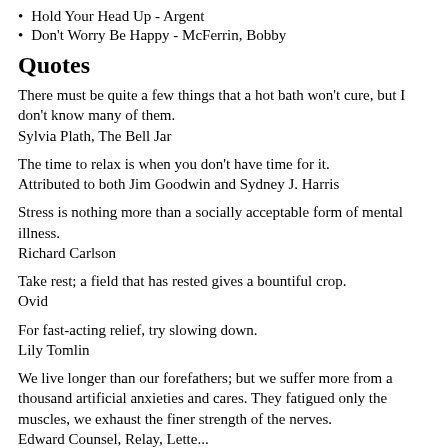Hold Your Head Up - Argent
Don't Worry Be Happy - McFerrin, Bobby
Quotes
There must be quite a few things that a hot bath won't cure, but I don't know many of them.
Sylvia Plath, The Bell Jar
The time to relax is when you don't have time for it.
Attributed to both Jim Goodwin and Sydney J. Harris
Stress is nothing more than a socially acceptable form of mental illness.
Richard Carlson
Take rest; a field that has rested gives a bountiful crop.
Ovid
For fast-acting relief, try slowing down.
Lily Tomlin
We live longer than our forefathers; but we suffer more from a thousand artificial anxieties and cares. They fatigued only the muscles, we exhaust the finer strength of the nerves.
Edward Counsel, Maximo, Latter...